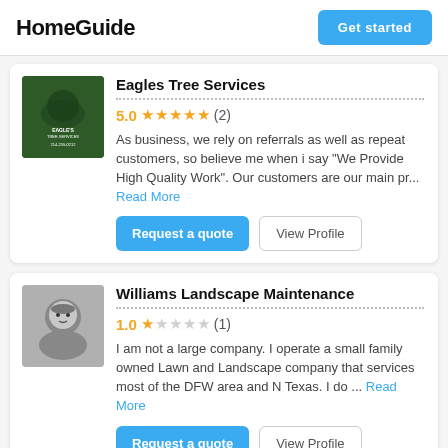HomeGuide | Get started
Eagles Tree Services
5.0 ★★★★★ (2)
As business, we rely on referrals as well as repeat customers, so believe me when i say "We Provide High Quality Work". Our customers are our main pr... Read More
Williams Landscape Maintenance
1.0 ★☆☆☆☆ (1)
I am not a large company. I operate a small family owned Lawn and Landscape company that services most of the DFW area and N Texas. I do ... Read More